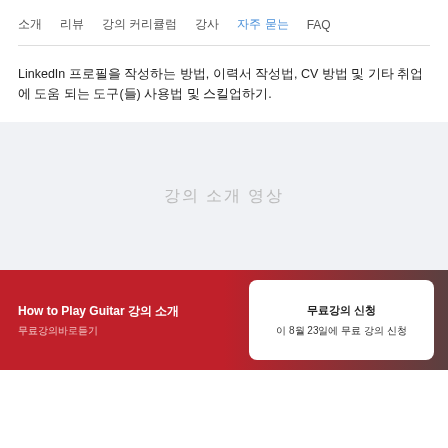소개  리뷰  강의 커리큘럼  강사  자주 묻는  FAQ
LinkedIn 프로필을 작성하는 방법, 이력서 작성법, CV 방법 및 기타 취업에 도움 되는 도구(들) 사용법 및 스킬업하기.
[Figure (other): Gray placeholder section with Korean text indicating loading or empty content area]
[Figure (other): Bottom banner with red to dark gradient. Left: How to Play Guitar 강의 소개 with Korean subtitle text. Right: white card with Korean label and date text (8월 23일에 무료 강의)]